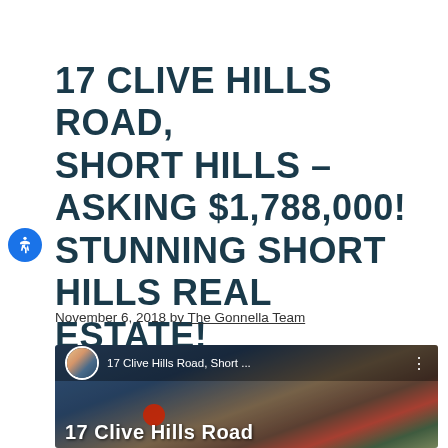17 CLIVE HILLS ROAD, SHORT HILLS – ASKING $1,788,000! STUNNING SHORT HILLS REAL ESTATE!
November 6, 2018 by The Gonnella Team
[Figure (screenshot): Video thumbnail showing '17 Clive Hills Road, Short ...' with a woman's avatar photo, trees and sky in the background, and '17 Clive Hills Road' text overlaid at the bottom.]